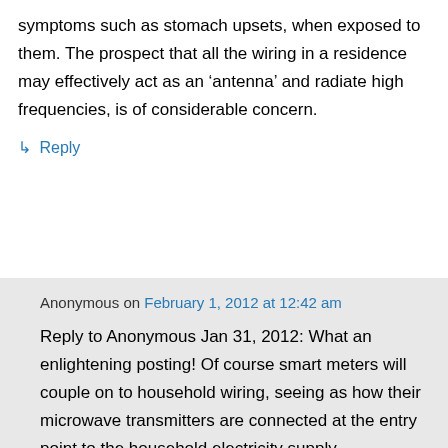symptoms such as stomach upsets, when exposed to them. The prospect that all the wiring in a residence may effectively act as an ‘antenna’ and radiate high frequencies, is of considerable concern.
↳ Reply
Anonymous on February 1, 2012 at 12:42 am
Reply to Anonymous Jan 31, 2012: What an enlightening posting! Of course smart meters will couple on to household wiring, seeing as how their microwave transmitters are connected at the entry point to the household electricity supply.